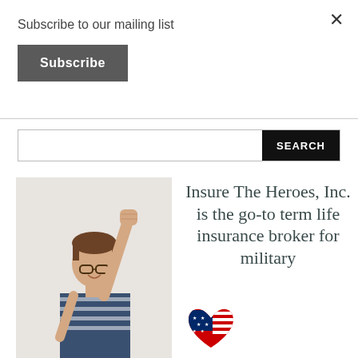Subscribe to our mailing list
Subscribe
SEARCH
[Figure (photo): Woman with short brown hair and glasses, wearing a striped sleeveless top, raising her fist in a power pose against a light background]
Insure The Heroes, Inc. is the go-to term life insurance broker for military